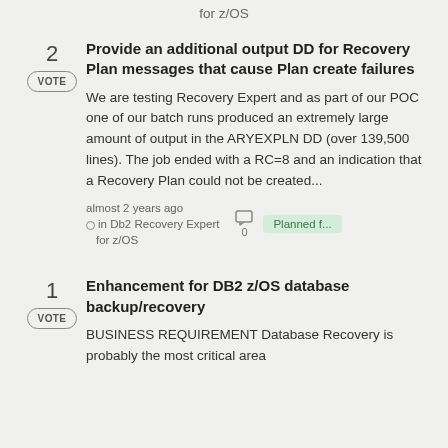for z/OS
Provide an additional output DD for Recovery Plan messages that cause Plan create failures
We are testing Recovery Expert and as part of our POC one of our batch runs produced an extremely large amount of output in the ARYEXPLN DD (over 139,500 lines). The job ended with a RC=8 and an indication that a Recovery Plan could not be created...
almost 2 years ago in Db2 Recovery Expert for z/OS
Planned f...
Enhancement for DB2 z/OS database backup/recovery
BUSINESS REQUIREMENT Database Recovery is probably the most critical area